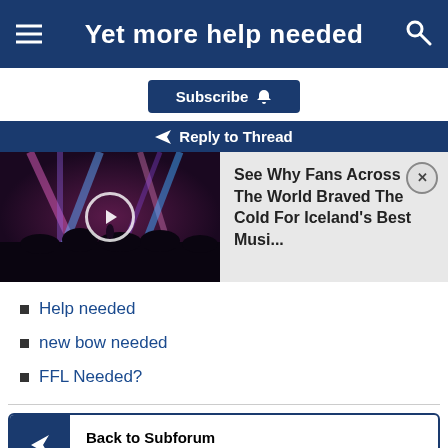Yet more help needed
Subscribe
Reply to Thread
[Figure (screenshot): Video thumbnail of concert with stage lights, and an advertisement popup reading: See Why Fans Across The World Braved The Cold For Iceland's Best Musi...]
Help needed
new bow needed
FFL Needed?
Back to Subforum
Hogs and Exotics
View Next Unread
driven boar poland